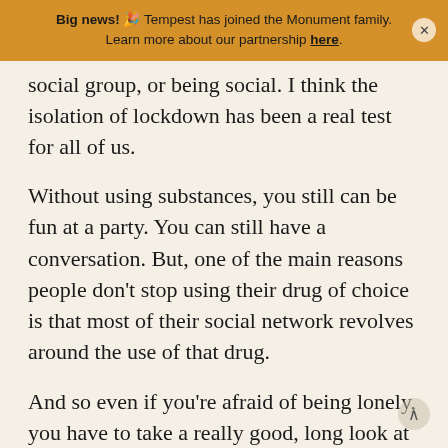Big news! 🎉 Tempest has joined the Monument family. Learn more about our partnership here.
social group, or being social. I think the isolation of lockdown has been a real test for all of us.
Without using substances, you still can be fun at a party. You can still have a conversation. But, one of the main reasons people don't stop using their drug of choice is that most of their social network revolves around the use of that drug.
And so even if you're afraid of being lonely, you have to take a really good, long look at who it is you are choosing to socialize with. Who are the people who are down for your change? If you decide to stop using a substance, who's going to